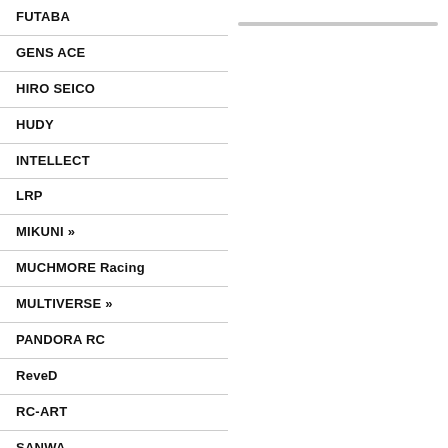FUTABA
GENS ACE
HIRO SEICO
HUDY
INTELLECT
LRP
MIKUNI »
MUCHMORE Racing
MULTIVERSE »
PANDORA RC
ReveD
RC-ART
SANWA